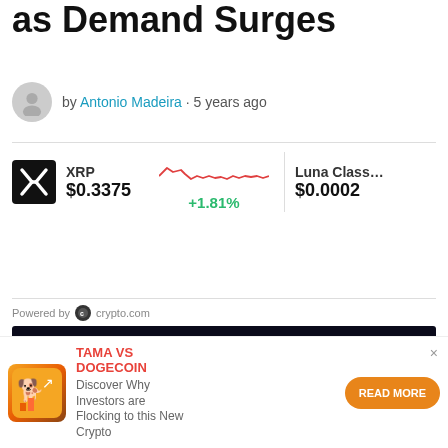as Demand Surges
by Antonio Madeira · 5 years ago
[Figure (infographic): XRP ticker showing price $0.3375 with +1.81% change and a mini red line chart; Luna Classic price $0.0002 partially visible]
Powered by crypto.com
[Figure (infographic): BitStarz casino advertisement banner: 5BTC +200 FREE SPINS with CLAIM NOW button]
[Figure (logo): bit★Starz logo on black background]
[Figure (infographic): TAMA VS DOGECOIN ad: Discover Why Investors are Flocking to this New Crypto with READ MORE button]